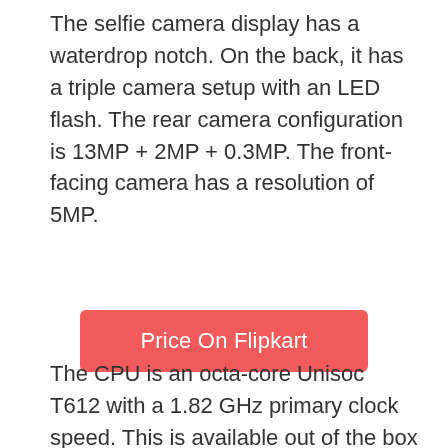The selfie camera display has a waterdrop notch. On the back, it has a triple camera setup with an LED flash. The rear camera configuration is 13MP + 2MP + 0.3MP. The front-facing camera has a resolution of 5MP.
[Figure (other): A red/coral rounded rectangle button with white text reading 'Price On Flipkart']
The CPU is an octa-core Unisoc T612 with a 1.82 GHz primary clock speed. This is available out of the box with Android 11.